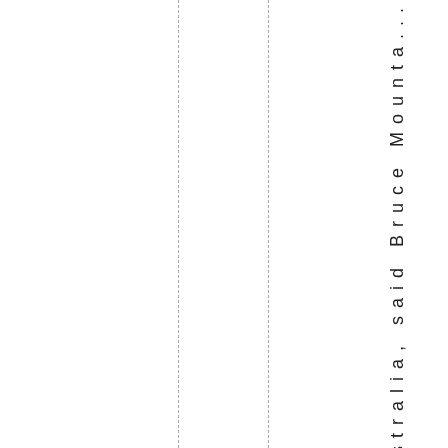Australia, said Bruce Mounta...